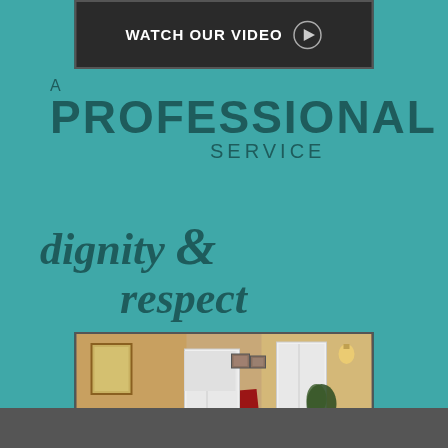[Figure (screenshot): Video thumbnail banner with text 'WATCH OUR VIDEO' and a play button icon on dark background]
A PROFESSIONAL SERVICE
dignity & respect
[Figure (photo): Interior photo of a funeral home facility showing a carpeted room with doors and seating, with 'TOUR OUR FACILITY' label]